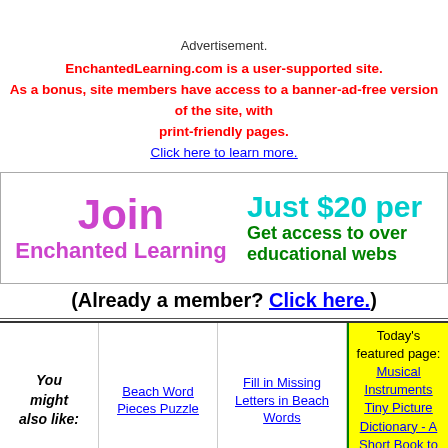Advertisement.
EnchantedLearning.com is a user-supported site. As a bonus, site members have access to a banner-ad-free version of the site, with print-friendly pages. Click here to learn more.
[Figure (infographic): Join Enchanted Learning banner — Just $20 per year. Get access to over educational web pages.]
(Already a member? Click here.)
You might also like: Beach Word Pieces Puzzle | Fill in Missing Letters in Beach Words | Today's featured page: Musical Instruments Tiny Picture Dictionary - A Short Book to Print